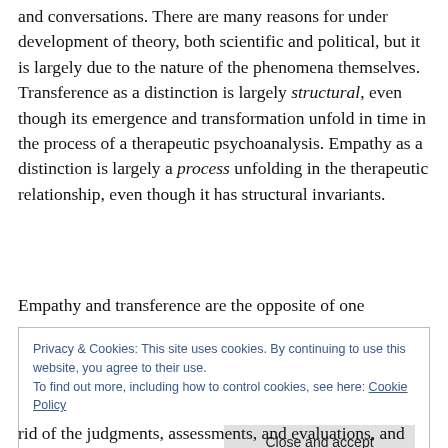and conversations. There are many reasons for under development of theory, both scientific and political, but it is largely due to the nature of the phenomena themselves. Transference as a distinction is largely structural, even though its emergence and transformation unfold in time in the process of a therapeutic psychoanalysis. Empathy as a distinction is largely a process unfolding in the therapeutic relationship, even though it has structural invariants.
Empathy and transference are the opposite of one
Privacy & Cookies: This site uses cookies. By continuing to use this website, you agree to their use.
To find out more, including how to control cookies, see here: Cookie Policy
rid of the judgments, assessments, and evaluations, and